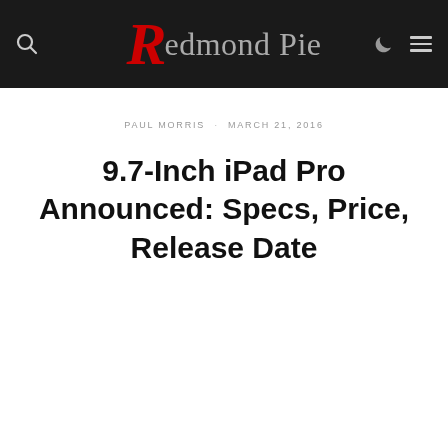Redmond Pie
PAUL MORRIS · MARCH 21, 2016
9.7-Inch iPad Pro Announced: Specs, Price, Release Date